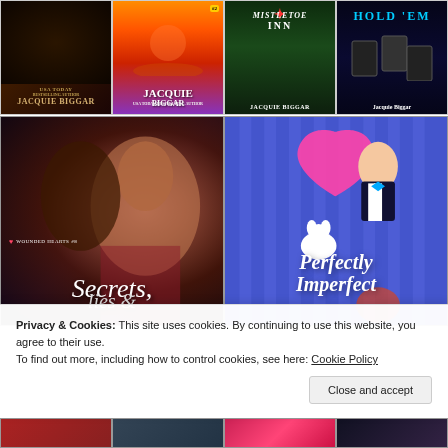[Figure (illustration): Grid of romance novel book covers. Top row (4 covers): Jacquie Biggar book with snake imagery, Jacquie Biggar book #2 with couple at sunset, Mistletoe Inn by Jacquie Biggar, Hold 'Em by Jacquie Biggar. Middle row (2 large covers): 'Secrets, Lies &' - Wounded Hearts #8 by Jacquie Biggar (dark romantic thriller), 'Perfectly Imperfect' (colorful illustrated romance with cartoon characters). Bottom row partially visible: 4 more book covers.]
Privacy & Cookies: This site uses cookies. By continuing to use this website, you agree to their use.
To find out more, including how to control cookies, see here: Cookie Policy
Close and accept